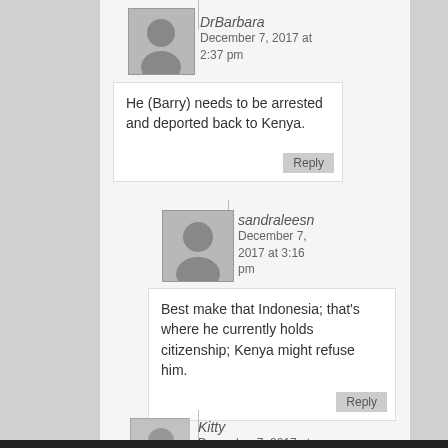[Figure (other): Avatar placeholder for DrBarbara]
DrBarbara
December 7, 2017 at 2:37 pm
He (Barry) needs to be arrested and deported back to Kenya.
[Figure (other): Avatar placeholder for sandraleesn]
sandraleesn
December 7, 2017 at 3:16 pm
Best make that Indonesia; that's where he currently holds citizenship; Kenya might refuse him.
[Figure (other): Avatar placeholder for Kitty]
Kitty
December 7, 2017 at